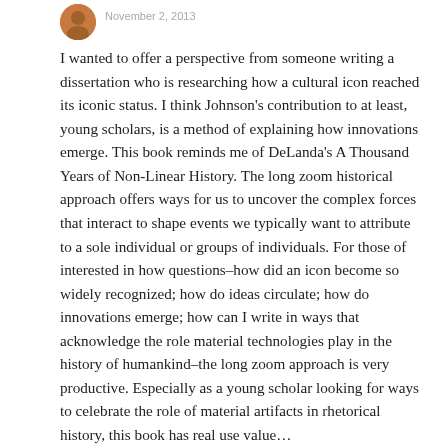[Figure (photo): Small circular avatar photo of a person]
November 2, 2013
I wanted to offer a perspective from someone writing a dissertation who is researching how a cultural icon reached its iconic status. I think Johnson’s contribution to at least, young scholars, is a method of explaining how innovations emerge. This book reminds me of DeLanda’s A Thousand Years of Non-Linear History. The long zoom historical approach offers ways for us to uncover the complex forces that interact to shape events we typically want to attribute to a sole individual or groups of individuals. For those of interested in how questions–how did an icon become so widely recognized; how do ideas circulate; how do innovations emerge; how can I write in ways that acknowledge the role material technologies play in the history of humankind–the long zoom approach is very productive. Especially as a young scholar looking for ways to celebrate the role of material artifacts in rhetorical history, this book has real use value…